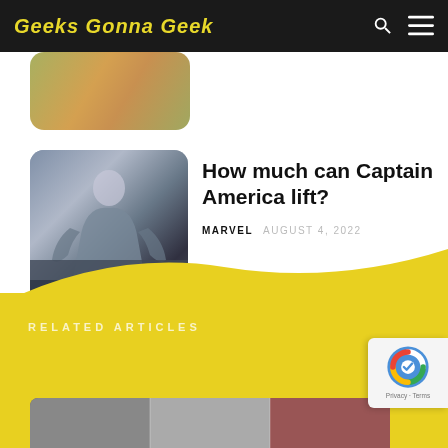Geeks Gonna Geek
[Figure (photo): Partially visible thumbnail image showing food/pumpkin]
How much can Captain America lift?
MARVEL  AUGUST 4, 2022
[Figure (photo): Action hero / Captain America figure in dynamic pose]
RELATED ARTICLES
[Figure (photo): Bottom strip showing partial related article images]